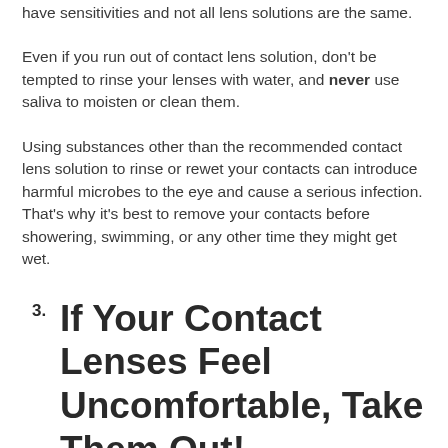have sensitivities and not all lens solutions are the same.
Even if you run out of contact lens solution, don't be tempted to rinse your lenses with water, and never use saliva to moisten or clean them.
Using substances other than the recommended contact lens solution to rinse or rewet your contacts can introduce harmful microbes to the eye and cause a serious infection. That's why it's best to remove your contacts before showering, swimming, or any other time they might get wet.
3. If Your Contact Lenses Feel Uncomfortable, Take Them Out!
Some newcomers mistakenly think that if their contacts